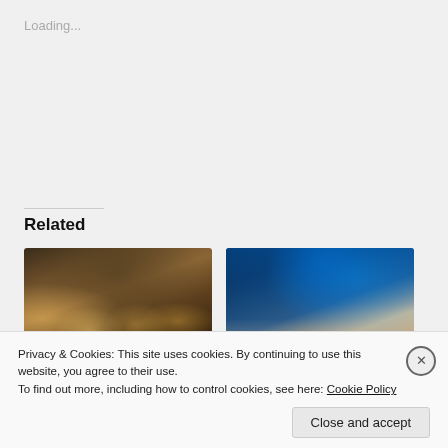Loading...
Related
[Figure (photo): Interior of an airport lounge with warm lighting, rows of seats, TV screens on wall, and small table lamps]
The Great Seoul/Incheon, Republic of Korea (ICN) Priority Pass Lounge Crawl, Part 1 – Terminal 1 Main Terminal (Updated)
[Figure (photo): Interior of Korean Air Prestige Lounge with blue ambient lighting, modern bar area with shelving and bottles]
Korean Air Prestige Lounge (West) Terminal 2, Seoul/Incheon, Republic of Korea (ICN) – The Great Seoul/Incheon Lounge Crawl, Part 5
Privacy & Cookies: This site uses cookies. By continuing to use this website, you agree to their use.
To find out more, including how to control cookies, see here: Cookie Policy
Close and accept